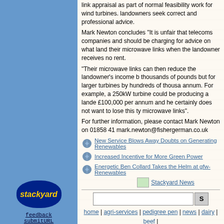link appraisal as part of normal feasibility work for wind turbines. landowners seek correct and professional advice.
Mark Newton concludes "It is unfair that telecoms companies and should be charging for advice on what land their microwave links when the landowner receives no rent.
"Their microwave links can then reduce the landowner's income by thousands of pounds but for larger turbines by hundreds of thousands annum. For example, a 250kW turbine could be producing a landowner £100,000 per annum and he certainly does not want to lose this type microwave links".
For further information, please contact Mark Newton on 01858 41 mark.newton@fishergerman.co.uk
New Service Blows Away Doubts on Generating Renewables
Increased Incentive for More Green Power
Energetic Ben Collard Takes the Helm at gfw-Renewables
Stackyard News
home | agri-services | pedigree pen | news | dairy | beef | BPS | property | organisations | site map